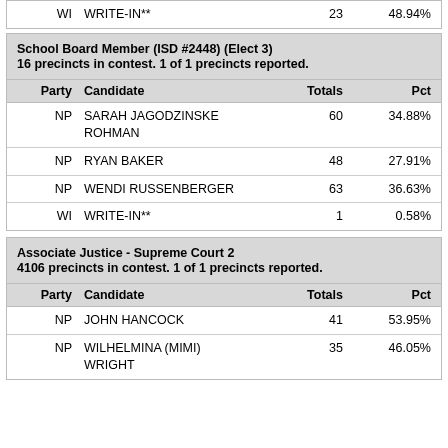| Party | Candidate | Totals | Pct |
| --- | --- | --- | --- |
| WI | WRITE-IN** | 23 | 48.94% |
School Board Member (ISD #2448) (Elect 3)
16 precincts in contest. 1 of 1 precincts reported.
| Party | Candidate | Totals | Pct |
| --- | --- | --- | --- |
| NP | SARAH JAGODZINSKE ROHMAN | 60 | 34.88% |
| NP | RYAN BAKER | 48 | 27.91% |
| NP | WENDI RUSSENBERGER | 63 | 36.63% |
| WI | WRITE-IN** | 1 | 0.58% |
Associate Justice - Supreme Court 2
4106 precincts in contest. 1 of 1 precincts reported.
| Party | Candidate | Totals | Pct |
| --- | --- | --- | --- |
| NP | JOHN HANCOCK | 41 | 53.95% |
| NP | WILHELMINA (MIMI) WRIGHT | 35 | 46.05% |